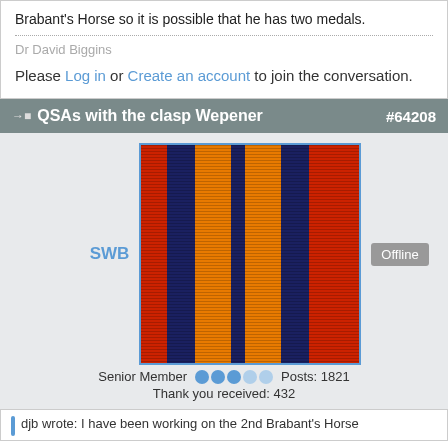Brabant's Horse so it is possible that he has two medals.
Dr David Biggins
Please Log in or Create an account to join the conversation.
QSAs with the clasp Wepener #64208
[Figure (photo): Avatar image showing a medal ribbon with red, dark blue, and orange/yellow vertical stripes. Username SWB shown to the left, Offline button to the right.]
Senior Member   Posts: 1821
Thank you received: 432
djb wrote: I have been working on the 2nd Brabant's Horse